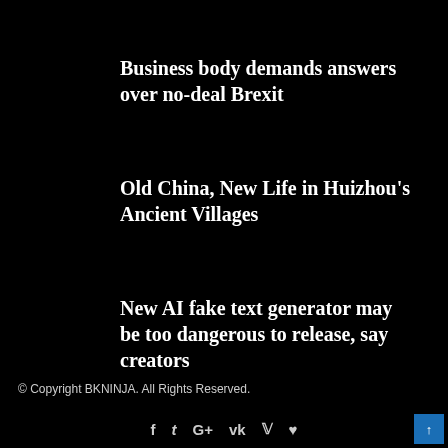Business body demands answers over no-deal Brexit
Old China, New Life in Huizhou's Ancient Villages
New AI fake text generator may be too dangerous to release, say creators
© Copyright BKNINJA. All Rights Reserved.